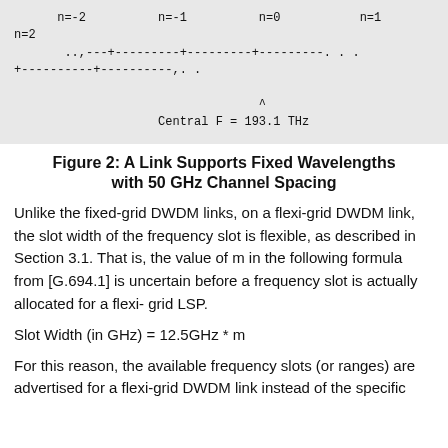[Figure (schematic): ASCII diagram showing frequency grid with labels n=-2, n=-1, n=0, n=1, n=2 on a dashed line, with a caret (^) marking Central F = 193.1 THz]
Figure 2: A Link Supports Fixed Wavelengths with 50 GHz Channel Spacing
Unlike the fixed-grid DWDM links, on a flexi-grid DWDM link, the slot width of the frequency slot is flexible, as described in Section 3.1. That is, the value of m in the following formula from [G.694.1] is uncertain before a frequency slot is actually allocated for a flexi- grid LSP.
For this reason, the available frequency slots (or ranges) are advertised for a flexi-grid DWDM link instead of the specific